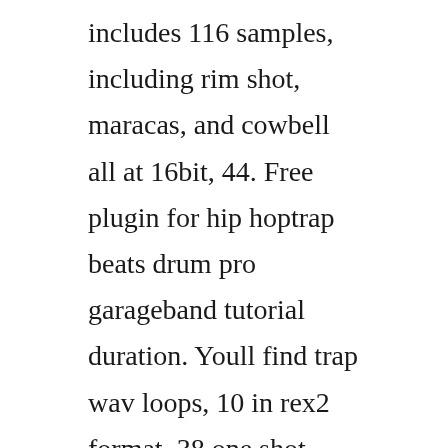includes 116 samples, including rim shot, maracas, and cowbell all at 16bit, 44. Free plugin for hip hoptrap beats drum pro garageband tutorial duration. Youll find trap wav loops, 10 in rex2 format, 38 one shot samples including multisampled 808 bass kicks, crunchy snares and claps, sound effects. All our sounds are handcrafted and 100% royalty free.
Browse our collection of garageband samples, sample packs, loops, one shot drums and sound effects. Trap ghosts drum kit comes